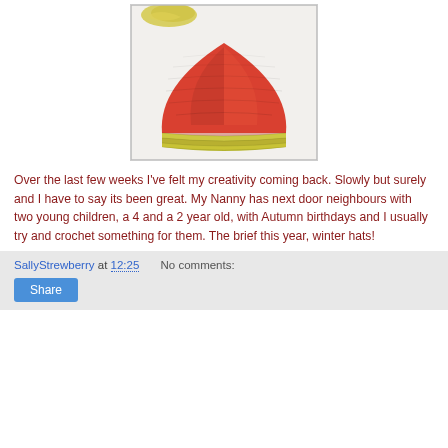[Figure (photo): Crocheted beanie hat with red/orange body and yellow-green brim, laid flat on white fabric background with yellow yarn visible at top]
Over the last few weeks I've felt my creativity coming back. Slowly but surely and I have to say its been great. My Nanny has next door neighbours with two young children, a 4 and a 2 year old, with Autumn birthdays and I usually try and crochet something for them. The brief this year, winter hats!
SallyStrewberry at 12:25   No comments:   Share